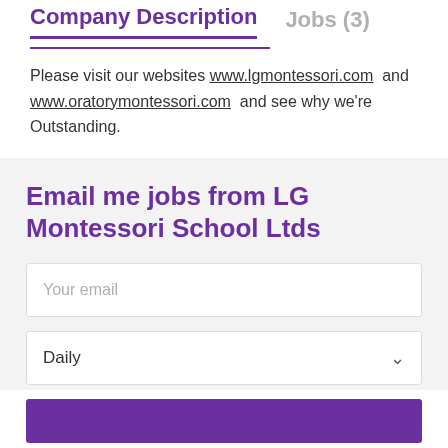Company Description   Jobs (3)
Please visit our websites www.lgmontessori.com and www.oratorymontessori.com and see why we're Outstanding.
Email me jobs from LG Montessori School Ltds
Your email
Daily